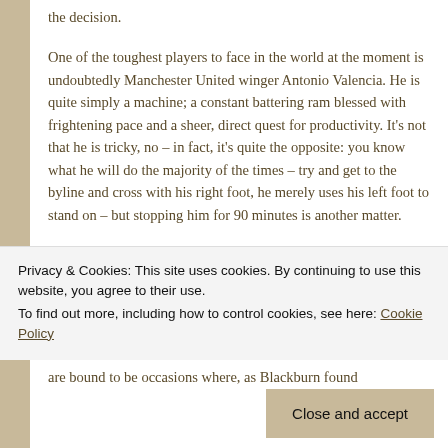the decision.
One of the toughest players to face in the world at the moment is undoubtedly Manchester United winger Antonio Valencia. He is quite simply a machine; a constant battering ram blessed with frightening pace and a sheer, direct quest for productivity. It’s not that he is tricky, no – in fact, it’s quite the opposite: you know what he will do the majority of the times – try and get to the byline and cross with his right foot, he merely uses his left foot to stand on – but stopping him for 90 minutes is another matter.
The solution to stop Valencia is to double-up on him
are bound to be occasions where, as Blackburn found
Privacy & Cookies: This site uses cookies. By continuing to use this website, you agree to their use.
To find out more, including how to control cookies, see here: Cookie Policy
Close and accept